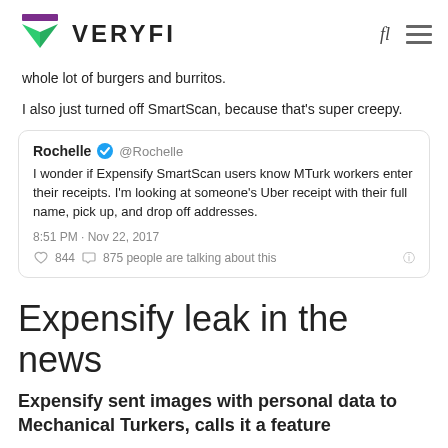VERYFI
whole lot of burgers and burritos.
I also just turned off SmartScan, because that's super creepy.
[Figure (screenshot): Tweet from @Rochelle: 'I wonder if Expensify SmartScan users know MTurk workers enter their receipts. I'm looking at someone's Uber receipt with their full name, pick up, and drop off addresses.' 8:51 PM - Nov 22, 2017. 844 likes, 875 people are talking about this.]
Expensify leak in the news
Expensify sent images with personal data to Mechanical Turkers, calls it a feature
https://arstechnica.com/information-